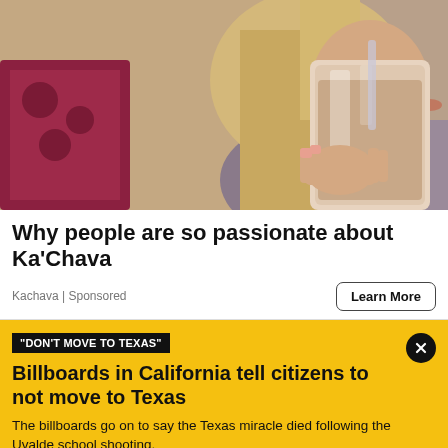[Figure (photo): Woman with long blonde hair drinking from a mason jar with a straw, lying down indoors with decorative pillows in background]
Why people are so passionate about Ka'Chava
Kachava | Sponsored
Learn More
"DON'T MOVE TO TEXAS"
Billboards in California tell citizens to not move to Texas
The billboards go on to say the Texas miracle died following the Uvalde school shooting.